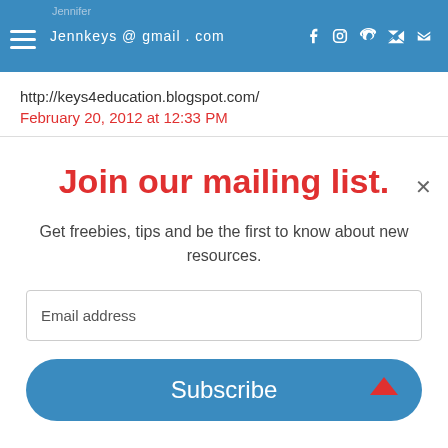Jennifer
Jennkeys@gmail.com
http://keys4education.blogspot.com/
February 20, 2012 at 12:33 PM
Join our mailing list.
Get freebies, tips and be the first to know about new resources.
Email address
Subscribe